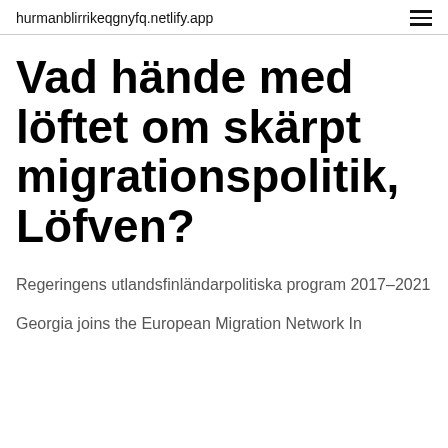hurmanblirrikeqgnyfq.netlify.app
Vad hände med löftet om skärpt migrationspolitik, Löfven?
Regeringens utlandsfinländarpolitiska program 2017–2021
Georgia joins the European Migration Network In